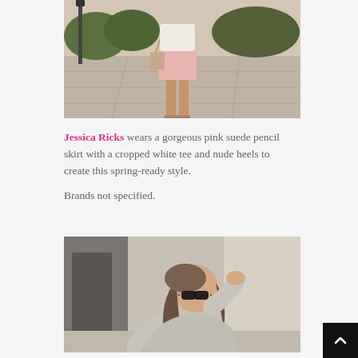[Figure (photo): Fashion blogger Jessica Ricks wearing a pink suede pencil skirt with cropped white tee and nude heels, standing on a sidewalk outdoors]
Jessica Ricks wears a gorgeous pink suede pencil skirt with a cropped white tee and nude heels to create this spring-ready style.

Brands not specified.
[Figure (photo): Fashion blogger wearing sunglasses and a gray oversized sweater, posing outdoors near a building]